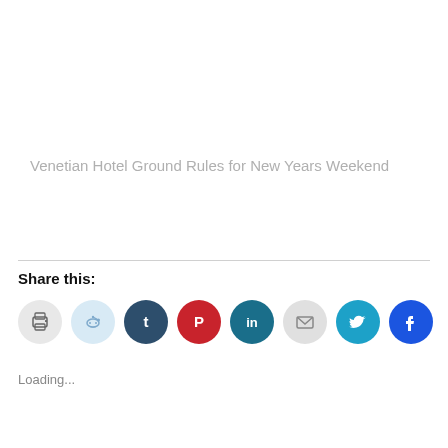Venetian Hotel Ground Rules for New Years Weekend
Share this:
[Figure (other): Row of social share icon buttons: print, reddit, tumblr, pinterest, linkedin, email, twitter, facebook]
Loading...